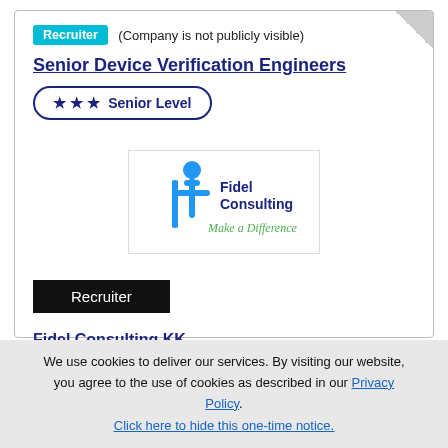Recruiter (Company is not publicly visible)
Senior Device Verification Engineers
★ ★ ★ Senior Level
[Figure (logo): Fidel Consulting logo with blue figure and text 'Fidel Consulting Make a Difference']
Recruiter
Fidel Consulting KK
We use cookies to deliver our services. By visiting our website, you agree to the use of cookies as described in our Privacy Policy. Click here to hide this one-time notice.